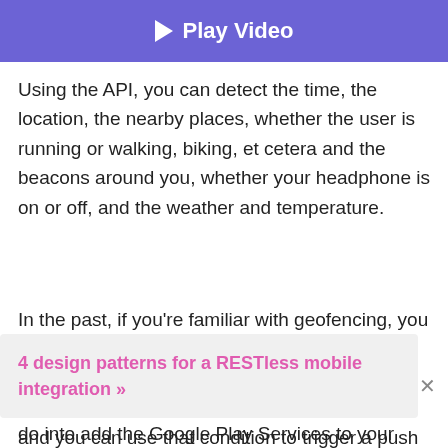[Figure (other): Purple play video banner button at top of page]
Using the API, you can detect the time, the location, the nearby places, whether the user is running or walking, biking, et cetera and the beacons around you, whether your headphone is on or off, and the weather and temperature.
In the past, if you're familiar with geofencing, you could define one fence with your geolocation. With this new Fence API, you can define any of those seven signals. You define the condition and you can use that condition to trigger a push notification or any kind of
4 design patterns for a RESTless mobile integration »
do into add the Google Play Services to your